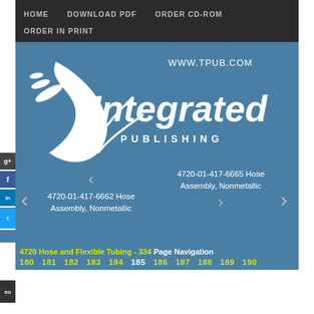HOME   DOWNLOAD PDF   ORDER CD-ROM   ORDER IN PRINT
[Figure (logo): Integrated Publishing logo with bird/quill graphic and text 'WWW.TPUB.COM Integrated PUBLISHING' on blue background]
4720-01-417-6662 Hose Assembly, Nonmetallic
4720-01-417-6665 Hose Assembly, Nonmetallic
4720 Hose and Flexible Tubing - 334 Page Navigation
180 181 182 183 184 185 186 187 188 189 190